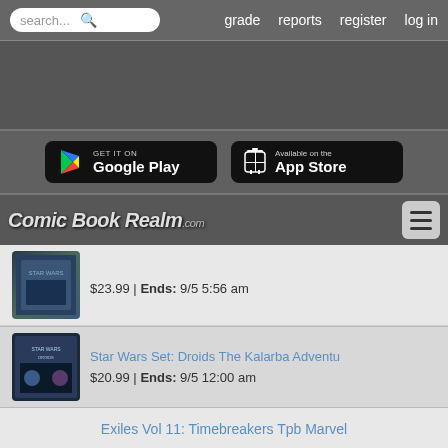search... | grade | reports | register | log in
[Figure (screenshot): Dark grey advertisement banner area]
[Figure (screenshot): Google Play and App Store download buttons on dark background]
[Figure (logo): Comic Book Realm .com logo with hamburger menu button]
[Figure (photo): Comic book cover thumbnail - Star Wars related]
$23.99 | Ends: 9/5 5:56 am
Star Wars Set: Droids The Kalarba Adventu
$20.99 | Ends: 9/5 12:00 am
Exiles Vol 11: Timebreakers Tpb Marvel